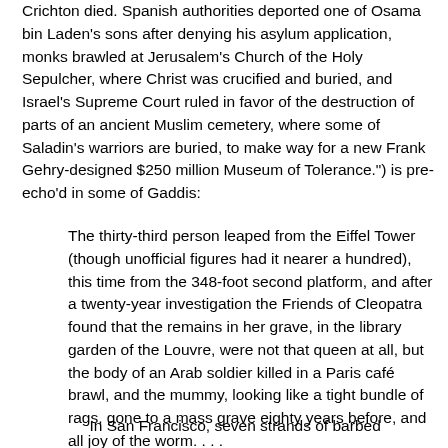Crichton died. Spanish authorities deported one of Osama bin Laden's sons after denying his asylum application, monks brawled at Jerusalem's Church of the Holy Sepulcher, where Christ was crucified and buried, and Israel's Supreme Court ruled in favor of the destruction of parts of an ancient Muslim cemetery, where some of Saladin's warriors are buried, to make way for a new Frank Gehry-designed $250 million Museum of Tolerance.") is pre-echo'd in some of Gaddis:
The thirty-third person leaped from the Eiffel Tower (though unofficial figures had it nearer a hundred), this time from the 348-foot second platform, and after a twenty-year investigation the Friends of Cleopatra found that the remains in her grave, in the library garden of the Louvre, were not that queen at all, but the body of an Arab soldier killed in a Paris café brawl, and the mummy, looking like a tight bundle of rags, gone to a mass grave eighty years before, and all joy of the worm. . . .
In San Francisco, seven strands of barbed